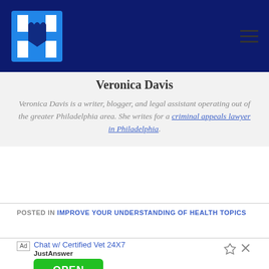Health blog navigation bar with logo and hamburger menu
Veronica Davis
Veronica Davis is a writer, blogger, and legal assistant operating out of the greater Philadelphia area. She writes for a criminal appeals lawyer in Philadelphia.
POSTED IN IMPROVE YOUR UNDERSTANDING OF HEALTH TOPICS
[Figure (infographic): Advertisement: Chat w/ Certified Vet 24X7, JustAnswer, with OPEN button]